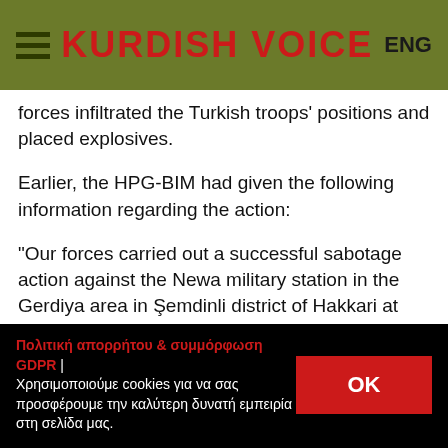KURDISH VOICE | ENG
forces infiltrated the Turkish troops' positions and placed explosives.
Earlier, the HPG-BIM had given the following information regarding the action:
"Our forces carried out a successful sabotage action against the Newa military station in the Gerdiya area in Şemdinli district of Hakkari at 08:00 on January 19 as part of the 'Time for Freedom' campaign. After an observation of the enemy forces at the outpost, guerrillas placed explosives at their positions which were
Πολιτική απορρήτου & συμμόρφωση GDPR | Χρησιμοποιούμε cookies για να σας προσφέρουμε την καλύτερη δυνατή εμπειρία στη σελίδα μας. OK